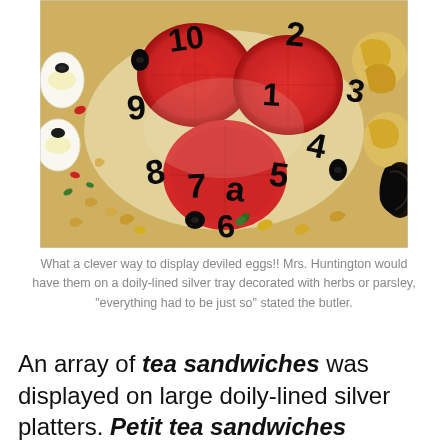[Figure (photo): A colorful food platter showing deviled eggs decorated with black olive numbers (1-12 like a clock face) arranged on tomato slices, surrounded by pasta salad garnished with herbs and red peppers.]
What a clever way to display deviled eggs!! Mrs. Huntington would have them on a doily-lined silver tray decorated with herbs or parsley, "everything had to be just so" stated the butler.
An array of tea sandwiches was displayed on large doily-lined silver platters. Petit tea sandwiches probably Chopped Ham Salad, & old-fashioned Chicken Salad, popular with the